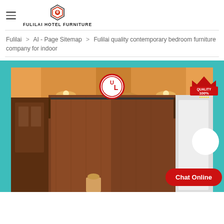FULILAI HOTEL FURNITURE
Fulilai > AI - Page Sitemap > Fulilai quality contemporary bedroom furniture company for indoor
[Figure (photo): Hotel furniture showroom photo showing wooden wardrobe/closet with ceiling lighting, displayed on teal scalloped background with UL certification badge, Quality 100% badge, white circle button and Chat Online red button overlay]